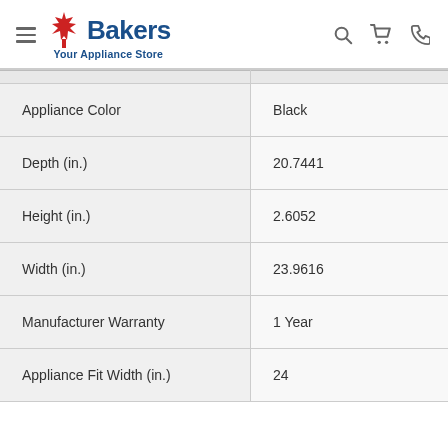Bakers Your Appliance Store
|  |  |
| --- | --- |
| Appliance Color | Black |
| Depth (in.) | 20.7441 |
| Height (in.) | 2.6052 |
| Width (in.) | 23.9616 |
| Manufacturer Warranty | 1 Year |
| Appliance Fit Width (in.) | 24 |